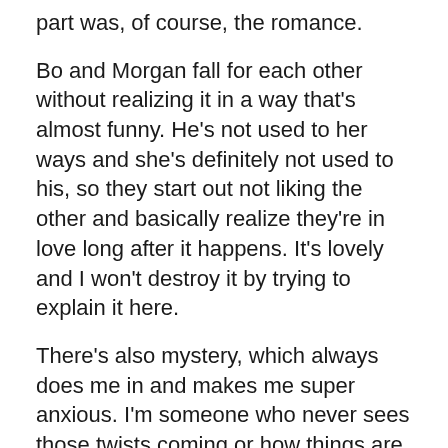part was, of course, the romance.
Bo and Morgan fall for each other without realizing it in a way that's almost funny. He's not used to her ways and she's definitely not used to his, so they start out not liking the other and basically realize they're in love long after it happens. It's lovely and I won't destroy it by trying to explain it here.
There's also mystery, which always does me in and makes me super anxious. I'm someone who never sees those twists coming or how things are going to get better. In my head, I was terrified for all three, Bo, Morgan and even Tricks. If you're like me, rest assured, there's a happy ending for all of them.
If you're a Linda Howard fan, you won't be needing my recommendation, because you know what she's like, but if